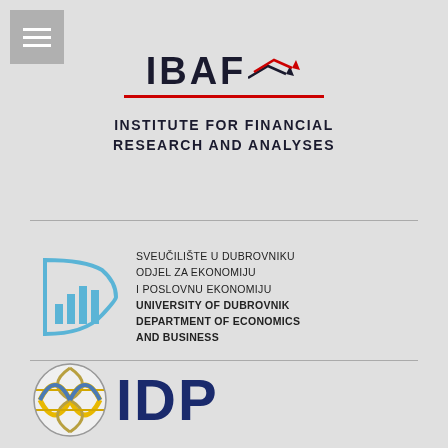[Figure (logo): Hamburger menu icon (three horizontal white lines on grey background)]
[Figure (logo): IBAF logo — Institute for Financial Research and Analyses, with upward arrows in navy and red, red underline]
[Figure (logo): University of Dubrovnik Department of Economics and Business logo — D-shape with bar chart in light blue]
[Figure (logo): IDP logo — globe graphic in gold/blue and IDP text in dark navy blue]